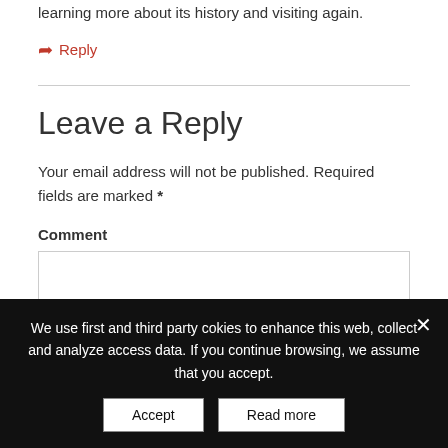learning more about its history and visiting again.
Reply
Leave a Reply
Your email address will not be published. Required fields are marked *
Comment
We use first and third party cokies to enhance this web, collect and analyze access data. If you continue browsing, we assume that you accept.
Accept
Read more